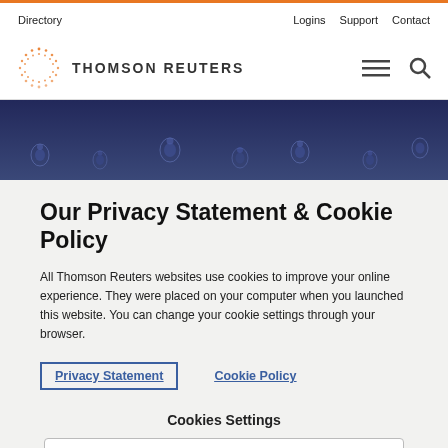Directory   Logins  Support  Contact
[Figure (logo): Thomson Reuters logo with orange dotted circle and bold text THOMSON REUTERS]
[Figure (photo): Dark blue background with water droplets hero image]
Our Privacy Statement & Cookie Policy
All Thomson Reuters websites use cookies to improve your online experience. They were placed on your computer when you launched this website. You can change your cookie settings through your browser.
Privacy Statement   Cookie Policy
Cookies Settings